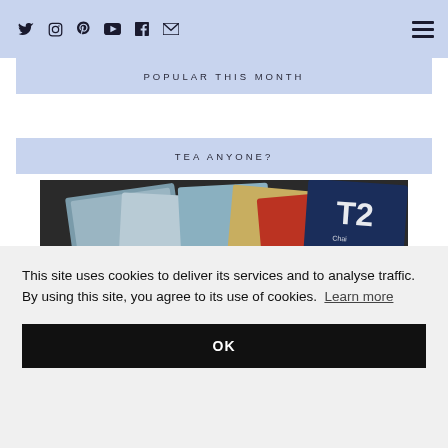Social media icons: Twitter, Instagram, Pinterest, YouTube, Facebook, Email | Hamburger menu
POPULAR THIS MONTH
TEA ANYONE?
[Figure (photo): Overhead photo of tea packaging cards/boxes including a T2 Chai box, scattered on a dark surface]
This site uses cookies to deliver its services and to analyse traffic. By using this site, you agree to its use of cookies. Learn more
OK